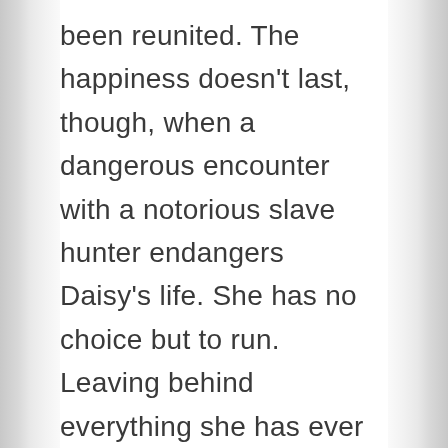been reunited. The happiness doesn't last, though, when a dangerous encounter with a notorious slave hunter endangers Daisy's life. She has no choice but to run. Leaving behind everything she has ever known, Daisy strikes out alone on the Underground Railroad.

Daisy's search for freedom leads her deep into the woods. Along